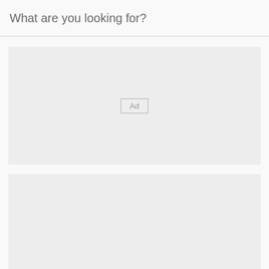What are you looking for?
[Figure (other): Advertisement placeholder box with 'Ad' label centered, light gray background]
[Figure (other): Second advertisement placeholder box, light gray background, partially visible]